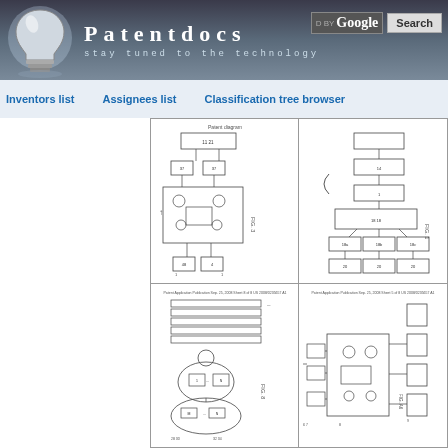[Figure (logo): Patentdocs website header with lightbulb logo, brand name 'Patentdocs', slogan 'stay tuned to the technology', and Google search bar]
Inventors list   Assignees list   Classification tree browser
[Figure (engineering-diagram): Patent figure FIG. 3 showing a block diagram with interconnected components including boxes, circles and signal flow lines]
[Figure (engineering-diagram): Patent figure FIG. 1 showing a vertical flowchart/block diagram with boxes connected by lines]
[Figure (engineering-diagram): Patent figure FIG. 8 showing a system diagram with horizontal bars at top and an oval/elliptical component structure below]
[Figure (engineering-diagram): Patent figure FIG. A6 showing a detailed block diagram with interconnected components and signal paths]